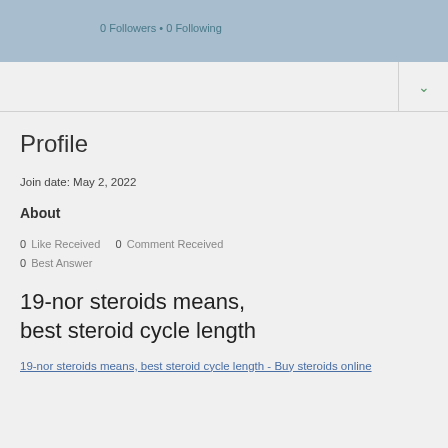0 Followers • 0 Following
Profile
Join date: May 2, 2022
About
0 Like Received    0 Comment Received
0 Best Answer
19-nor steroids means, best steroid cycle length
19-nor steroids means, best steroid cycle length - Buy steroids online